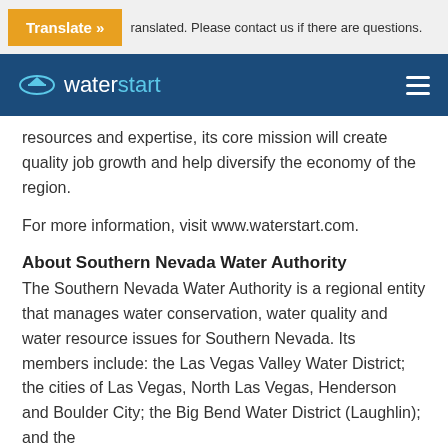Translate » ... ranslated. Please contact us if there are questions.
waterstart [navigation bar]
resources and expertise, its core mission will create quality job growth and help diversify the economy of the region.
For more information, visit www.waterstart.com.
About Southern Nevada Water Authority
The Southern Nevada Water Authority is a regional entity that manages water conservation, water quality and water resource issues for Southern Nevada. Its members include: the Las Vegas Valley Water District; the cities of Las Vegas, North Las Vegas, Henderson and Boulder City; the Big Bend Water District (Laughlin); and the